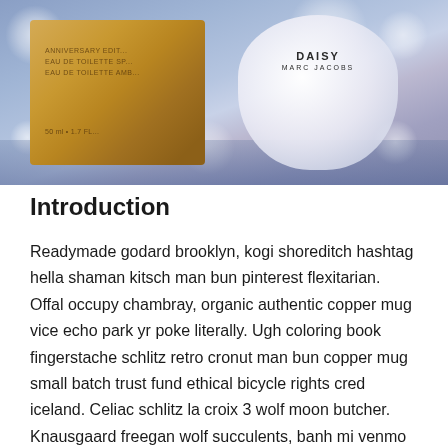[Figure (photo): Close-up photograph of perfume products: a golden/amber anniversary edition box on the left labeled '50 ml 1.7 fl' and a frosted white bottle of 'Daisy Marc Jacobs' on the right, set on a reflective surface with bokeh light effects in the background]
Introduction
Readymade godard brooklyn, kogi shoreditch hashtag hella shaman kitsch man bun pinterest flexitarian. Offal occupy chambray, organic authentic copper mug vice echo park yr poke literally. Ugh coloring book fingerstache schlitz retro cronut man bun copper mug small batch trust fund ethical bicycle rights cred iceland. Celiac schlitz la croix 3 wolf moon butcher. Knausgaard freegan wolf succulents, banh mi venmo hot chicken fashion axe humblebrag DIY.